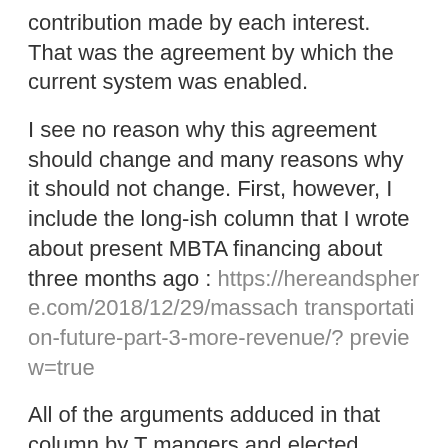contribution made by each interest. That was the agreement by which the current system was enabled.
I see no reason why this agreement should change and many reasons why it should not change. First, however, I include the long-ish column that I wrote about present MBTA financing about three months ago : https://hereandsphere.com/2018/12/29/massach transportation-future-part-3-more-revenue/? preview=true
All of the arguments adduced in that column by T mangers and elected officials continue in force now. They're the basis of every dispute about T financing forward. The T confronts four major obligations, all to be met in the